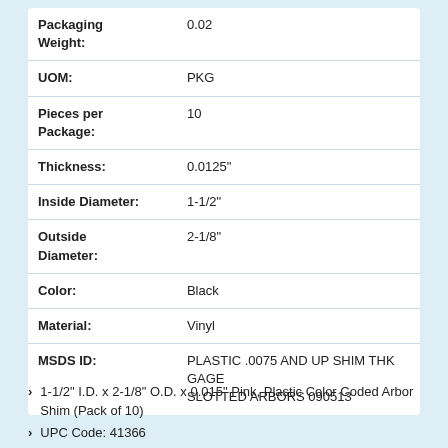| Attribute | Value |
| --- | --- |
| Packaging Weight: | 0.02 |
| UOM: | PKG |
| Pieces per Package: | 10 |
| Thickness: | 0.0125" |
| Inside Diameter: | 1-1/2" |
| Outside Diameter: | 2-1/8" |
| Color: | Black |
| Material: | Vinyl |
| MSDS ID: | PLASTIC .0075 AND UP SHIM THK GAGE SLOTTED ARBORS 090513 |
1-1/2" I.D. x 2-1/8" O.D. x 0.015" Pink, Plastic Color Coded Arbor Shim (Pack of 10)
UPC Code: 41366